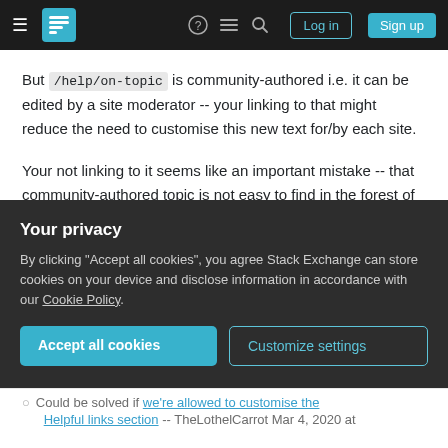[Figure (screenshot): Stack Exchange navigation bar with hamburger menu, logo, icons, Log in and Sign up buttons]
But /help/on-topic is community-authored i.e. it can be edited by a site moderator -- your linking to that might reduce the need to customise this new text for/by each site.
Your not linking to it seems like an important mistake -- that community-authored topic is not easy to find in the forest of other help topics.
Share
edited Jun 3, 2020 at 13:30
Improve this answer
Community Bot
Your privacy
By clicking "Accept all cookies", you agree Stack Exchange can store cookies on your device and disclose information in accordance with our Cookie Policy.
Accept all cookies
Customize settings
Could be solved if we're allowed to customise the Helpful links section -- TheLothelCarrot Mar 4, 2020 at